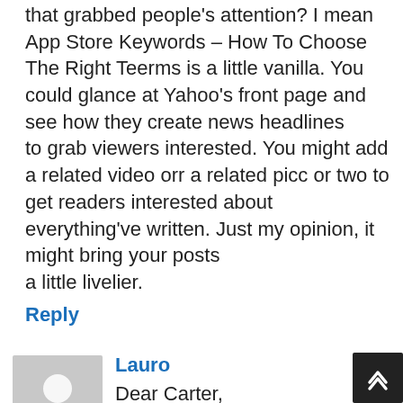that grabbed people's attention? I mean App Store Keywords – How To Choose The Right Teerms is a little vanilla. You could glance at Yahoo's front page and see how they create news headlines to grab viewers interested. You might add a related video orr a related picc or two to get readers interested about everything've written. Just my opinion, it might bring your posts a little livelier.
Reply
Lauro
Dear Carter, A little suggestion: Make all of us App Flipping Program Members very happy, and